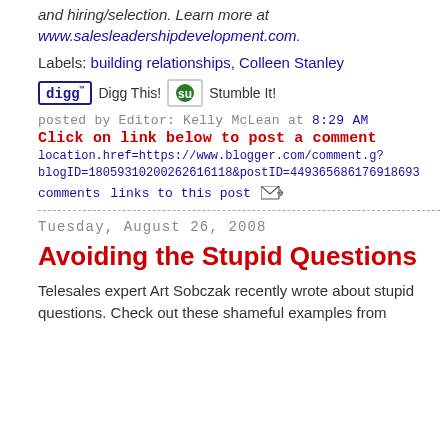and hiring/selection. Learn more at www.salesleadershipdevelopment.com.
Labels: building relationships, Colleen Stanley
[Figure (other): Social sharing buttons: Digg This! and Stumble It!]
posted by Editor: Kelly McLean at 8:29 AM
Click on link below to post a comment
location.href=https://www.blogger.com/comment.g?blogID=18059310200262616118&postID=449365686176918693
comments   links to this post
Tuesday, August 26, 2008
Avoiding the Stupid Questions
Telesales expert Art Sobczak recently wrote about stupid questions. Check out these shameful examples from